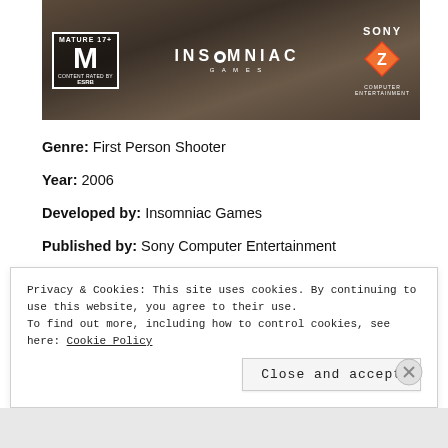[Figure (photo): Resistance Fall of Man game box art banner showing dark war-torn scene with ESRB Mature 17+ rating badge, Insomniac Games logo in center, and Sony Computer Entertainment logo/diamond on right]
Genre: First Person Shooter
Year: 2006
Developed by: Insomniac Games
Published by: Sony Computer Entertainment
Platforms: PS3
Privacy & Cookies: This site uses cookies. By continuing to use this website, you agree to their use.
To find out more, including how to control cookies, see here: Cookie Policy
Close and accept